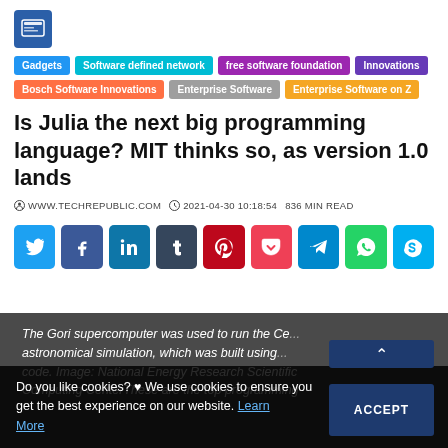[Figure (logo): Website logo icon — newspaper/document icon in blue square]
Gadgets | Software defined network | free software foundation | Innovations
Bosch Software Innovations | Enterprise Software | Enterprise Software on Z
Is Julia the next big programming language? MIT thinks so, as version 1.0 lands
WWW.TECHREPUBLIC.COM  2021-04-30 10:18:54  836 MIN READ
[Figure (infographic): Social media share buttons: Twitter (blue), Facebook (dark blue), LinkedIn (blue), Tumblr (dark), Pinterest (red), Pocket (pink/red), Telegram (blue), WhatsApp (green), Skype (light blue)]
The Gori supercomputer was used to run the Ce... astronomical simulation, which was built using... code. Image: National Energy Research Scientific Computing CenterThese are the top programming
Do you like cookies? ♥ We use cookies to ensure you get the best experience on our website. Learn More
ACCEPT